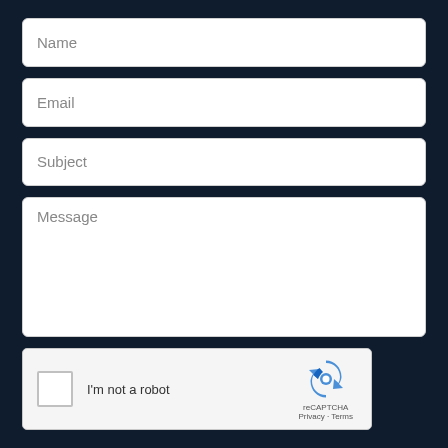Name
Email
Subject
Message
[Figure (other): reCAPTCHA widget with checkbox labeled I'm not a robot, and reCAPTCHA logo with Privacy and Terms links]